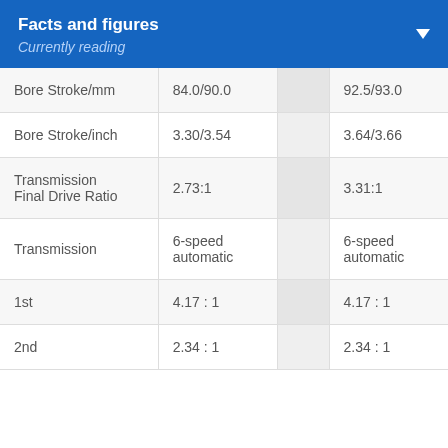Facts and figures
Currently reading
|  |  |  |  |
| --- | --- | --- | --- |
| Bore Stroke/mm | 84.0/90.0 |  | 92.5/93.0 |
| Bore Stroke/inch | 3.30/3.54 |  | 3.64/3.66 |
| Transmission Final Drive Ratio | 2.73:1 |  | 3.31:1 |
| Transmission | 6-speed automatic |  | 6-speed automatic |
| 1st | 4.17 : 1 |  | 4.17 : 1 |
| 2nd | 2.34 : 1 |  | 2.34 : 1 |